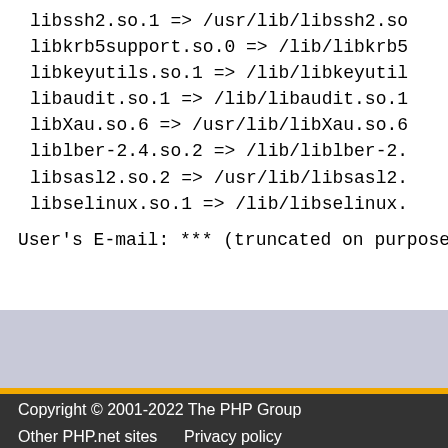libssh2.so.1 => /usr/lib/libssh2.so
libkrb5support.so.0 => /lib/libkrb5
libkeyutils.so.1 => /lib/libkeyutil
libaudit.so.1 => /lib/libaudit.so.1
libXau.so.6 => /usr/lib/libXau.so.6
liblber-2.4.so.2 => /lib/liblber-2.
libsasl2.so.2 => /usr/lib/libsasl2.
libselinux.so.1 => /lib/libselinux.
User's E-mail: *** (truncated on purpose) *
Copyright © 2001-2022 The PHP Group
Other PHP.net sites    Privacy policy